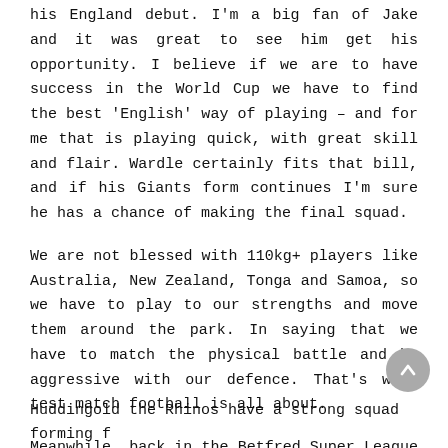his England debut. I'm a big fan of Jake and it was great to see him get his opportunity. I believe if we are to have success in the World Cup we have to find the best 'English' way of playing – and for me that is playing quick, with great skill and flair. Wardle certainly fits that bill, and if his Giants form continues I'm sure he has a chance of making the final squad.
We are not blessed with 110kg+ players like Australia, New Zealand, Tonga and Samoa, so we have to play to our strengths and move them around the park. In saying that we have to match the physical battle and be aggressive with our defence. That's what test match football is all about.
Meanwhile, back in the Betfred Super League following the international weekend, all teams are back in action – and it's Super League strugglers Leeds who come to the Totally Wicked Stadium on Thursday.
Betfred Super League Odds
Huddingold the Rhinos have a strong squad forming f...